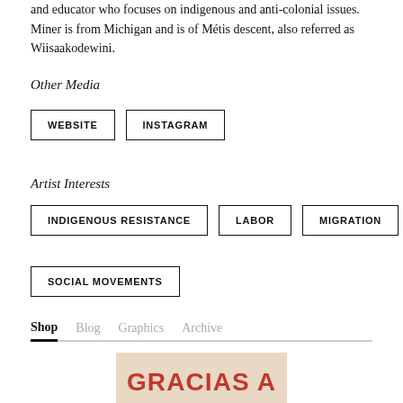and educator who focuses on indigenous and anti-colonial issues. Miner is from Michigan and is of Métis descent, also referred as Wiisaakodewini.
Other Media
WEBSITE   INSTAGRAM
Artist Interests
INDIGENOUS RESISTANCE   LABOR   MIGRATION
SOCIAL MOVEMENTS
Shop   Blog   Graphics   Archive
[Figure (photo): Image with red text reading GRACIAS A on a beige background]